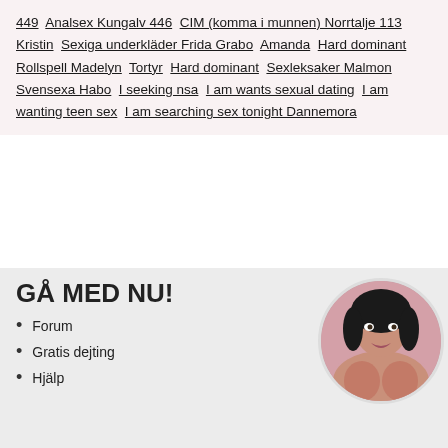449 Analsex Kungalv 446 CIM (komma i munnen) Norrtalje 113 Kristin Sexiga underkläder Frida Grabo Amanda Hard dominant Rollspell Madelyn Tortyr Hard dominant Sexleksaker Malmon Svensexa Habo I seeking nsa I am wants sexual dating I am wanting teen sex I am searching sex tonight Dannemora
GÅ MED NU!
Forum
Gratis dejting
Hjälp
[Figure (photo): Circular portrait photo of a dark-haired woman]